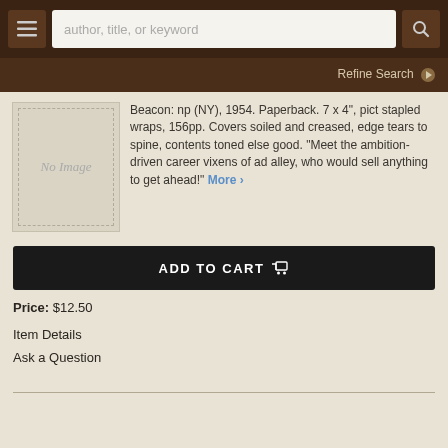author, title, or keyword
Refine Search
[Figure (other): Book cover placeholder showing 'No Image']
Beacon: np (NY), 1954. Paperback. 7 x 4", pict stapled wraps, 156pp. Covers soiled and creased, edge tears to spine, contents toned else good. "Meet the ambition-driven career vixens of ad alley, who would sell anything to get ahead!" More ›
ADD TO CART
Price: $12.50
Item Details
Ask a Question